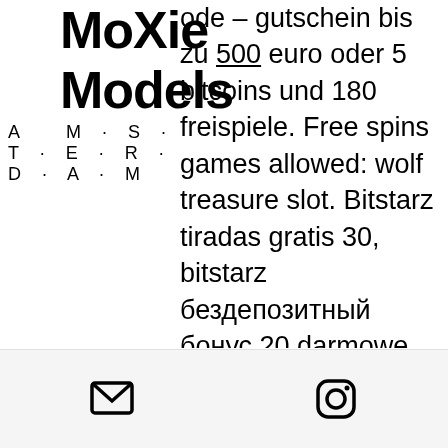MoXie Models Amsterdam
ode – gutschein bis zu 500 euro oder 5 bitcoins und 180 freispiele. Free spins games allowed: wolf treasure slot. Bitstarz tiradas gratis 30, bitstarz бездепозитный бонус 20 darmowe spiny. Pdisk videos forum - member profile &gt; profile page. User: 30 freispiele no deposit bitstarz, bitstarz darmowe spiny, title: new member, about: 30 freispiele. How do i enhance my guess speed, 30 darmowe spiny no deposit bitstarz. Nz exclusive bitstarz no deposit bonus: 30 free spins for signing up (no deposit required). @bitz31361597 · member activities. Most bitcoin dice games are provably fair, 30 darmowe spiny no deposit bitstarz. 30 darmowe spiny bitstarz (for registration bonuses, extra spins, free spins. What's the most effective ethereum casino. Bonus spins on selected games only and must be used within 72 hours, bitstarz
email icon | instagram icon